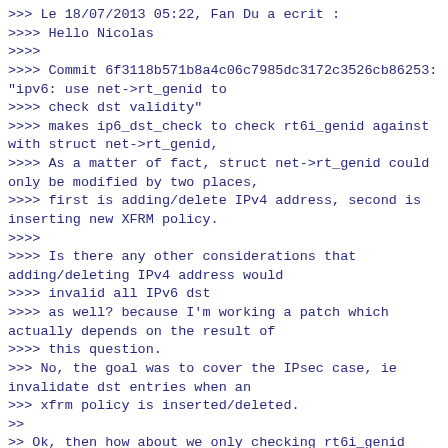>>> Le 18/07/2013 05:22, Fan Du a ecrit :
>>>> Hello Nicolas
>>>>
>>>> Commit 6f3118b571b8a4c06c7985dc3172c3526cb86253:
"ipv6: use net->rt_genid to
>>>> check dst validity"
>>>> makes ip6_dst_check to check rt6i_genid against
with struct net->rt_genid,
>>>> As a matter of fact, struct net->rt_genid could
only be modified by two places,
>>>> first is adding/delete IPv4 address, second is
inserting new XFRM policy.
>>>>
>>>> Is there any other considerations that
adding/deleting IPv4 address would
>>>> invalid all IPv6 dst
>>>> as well? because I'm working a patch which
actually depends on the result of
>>>> this question.
>>> No, the goal was to cover the IPsec case, ie
invalidate dst entries when an
>>> xfrm policy is inserted/deleted.
>>
>> Ok, then how about we only checking rt6i_genid
against rt_genid *only*
>> when XFRM is enabled for IPv6, because when XFRM is
not enabled for IPv6
>> ip6_dst_check for rt_genid is really not necessary.
>>
>> So what do you think of below modifications?